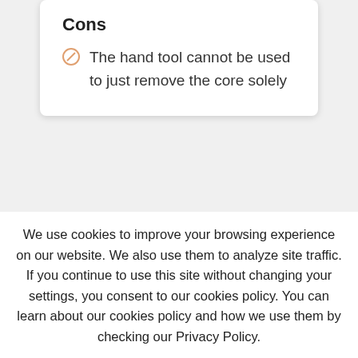Cons
The hand tool cannot be used to just remove the core solely
Prepworks by Progressive 16-Slice Thin-load Slicer S...
We use cookies to improve your browsing experience on our website. We also use them to analyze site traffic. If you continue to use this site without changing your settings, you consent to our cookies policy. You can learn about our cookies policy and how we use them by checking our Privacy Policy. Accept   Read More